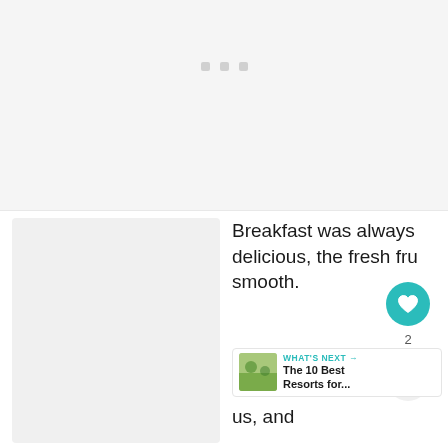[Figure (photo): Large light gray placeholder image area at the top of the page with three small square dots centered in the upper region]
[Figure (photo): Small light gray placeholder image in the bottom-left quadrant]
Breakfast was always delicious, the fresh fru smooth.
[Figure (infographic): Social sharing overlay: teal heart button with count badge '2' and a share button below]
[Figure (screenshot): WHAT'S NEXT callout with thumbnail image and text 'The 10 Best Resorts for...']
us, and